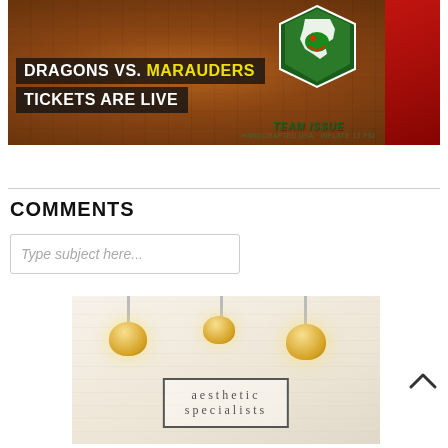[Figure (photo): Football with Dragons vs. Marauders promotional image. Text overlay reads 'DRAGONS VS. MARAUDERS' (Marauders in yellow) and 'TICKETS ARE LIVE' in white on dark background. Team Issue branding visible on ball.]
COMMENTS
Type subject here...
[Figure (photo): Advertisement for 'aesthetic specialists' — interior with white brick wall, pendant globe lights, and framed sign reading 'aesthetic specialists'.]